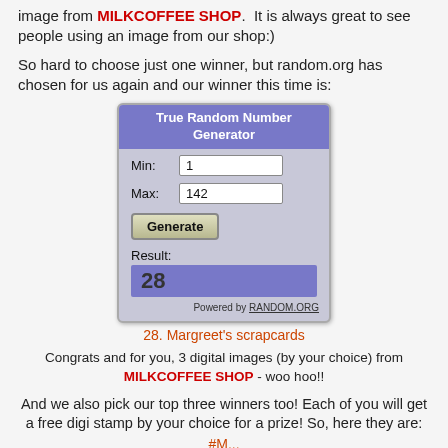image from MILKCOFFEE SHOP. It is always great to see people using an image from our shop:)
So hard to choose just one winner, but random.org has chosen for us again and our winner this time is:
[Figure (screenshot): True Random Number Generator widget from random.org showing Min: 1, Max: 142, Generate button, Result: 28]
28. Margreet's scrapcards
Congrats and for you, 3 digital images (by your choice) from MILKCOFFEE SHOP - woo hoo!!
And we also pick our top three winners too! Each of you will get a free digi stamp by your choice for a prize! So, here they are: